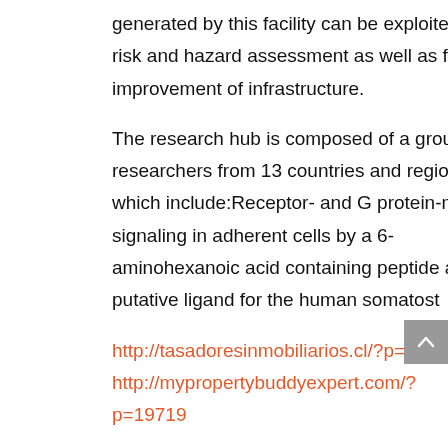generated by this facility can be exploited for risk and hazard assessment as well as for the improvement of infrastructure.
The research hub is composed of a group of 25 researchers from 13 countries and regions, which include:Receptor- and G protein-mediated signaling in adherent cells by a 6-aminohexanoic acid containing peptide as a putative ligand for the human somatost
http://tasadoresinmobiliarios.cl/?p=1511
http://mypropertybuddyexpert.com/?p=19719